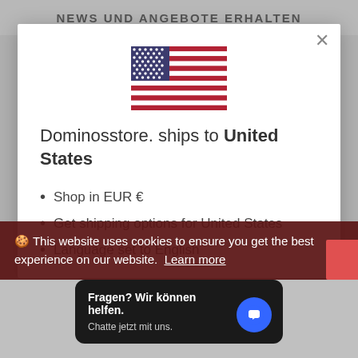NEWS UND ANGEBOTE ERHALTEN
[Figure (illustration): US flag emoji/icon centered in modal]
Dominosstore. ships to United States
Shop in EUR €
Get shipping options for United States
Language set to English
🍪 This website uses cookies to ensure you get the best experience on our website.  Learn more
Fragen? Wir können helfen.
Chatte jetzt mit uns.